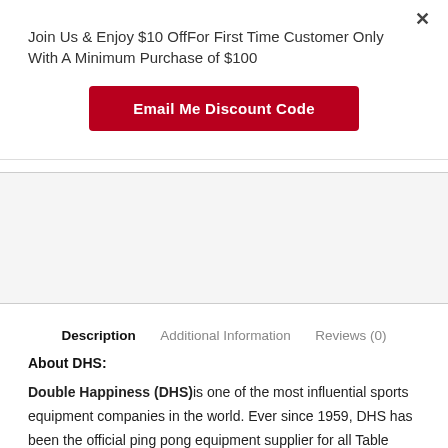Join Us & Enjoy $10 OffFor First Time Customer Only With A Minimum Purchase of $100
Email Me Discount Code
Description   Additional Information   Reviews (0)
About DHS:
Double Happiness (DHS) is one of the most influential sports equipment companies in the world. Ever since 1959, DHS has been the official ping pong equipment supplier for all Table Tennis World Championships, Table Tennis World Cups and